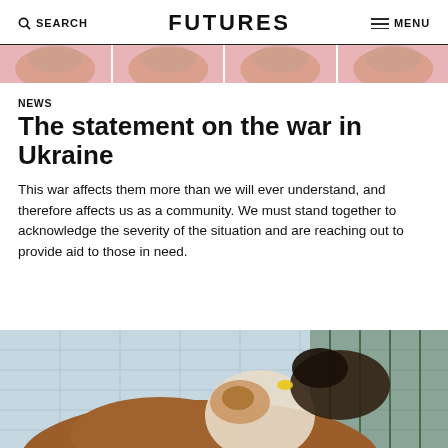SEARCH   FUTURES   MENU
[Figure (photo): Strip of four cropped images with pink/peach tones]
NEWS
The statement on the war in Ukraine
This war affects them more than we will ever understand, and therefore affects us as a community. We must stand together to acknowledge the severity of the situation and are reaching out to provide aid to those in need.
[Figure (photo): Photo of cows or cattle in a barn/pen setting, one brown cow prominent in foreground with a black and white animal behind]